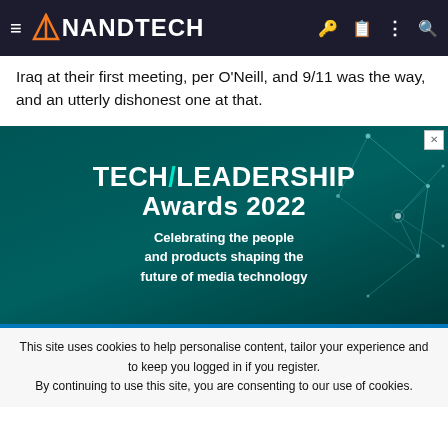AnandTech
Iraq at their first meeting, per O'Neill, and 9/11 was the way, and an utterly dishonest one at that.
[Figure (photo): Tech/Leadership Awards 2022 advertisement banner on a dark teal background with a network/geometric graphic overlay. Text reads: TECH/LEADERSHIP Awards 2022 — Celebrating the people and products shaping the future of media technology]
This site uses cookies to help personalise content, tailor your experience and to keep you logged in if you register.
By continuing to use this site, you are consenting to our use of cookies.